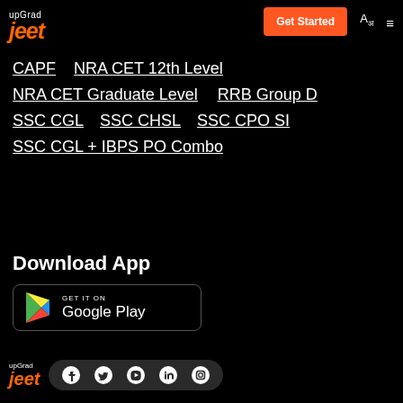[Figure (logo): upGrad Jeet logo - upGrad in white, Jeet in orange italic]
[Figure (other): Get Started orange button]
CAPF
NRA CET 12th Level
NRA CET Graduate Level
RRB Group D
SSC CGL
SSC CHSL
SSC CPO SI
SSC CGL + IBPS PO Combo
Download App
[Figure (other): Google Play Store badge button]
[Figure (other): upGrad Jeet footer logo with social media icons: Facebook, Twitter, YouTube, LinkedIn, Instagram]